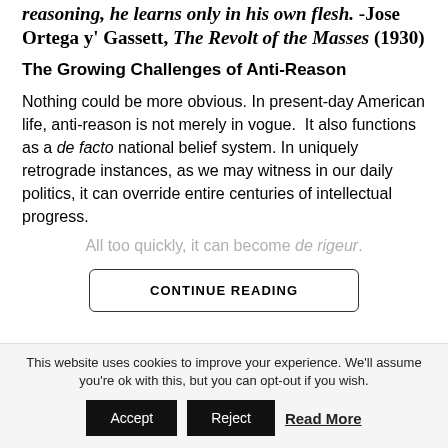reasoning, he learns only in his own flesh. -Jose Ortega y' Gassett, The Revolt of the Masses (1930)
The Growing Challenges of Anti-Reason
Nothing could be more obvious. In present-day American life, anti-reason is not merely in vogue.  It also functions as a de facto national belief system. In uniquely retrograde instances, as we may witness in our daily politics, it can override entire centuries of intellectual progress.
All too quickly, it can become de rigeur.
CONTINUE READING
This website uses cookies to improve your experience. We'll assume you're ok with this, but you can opt-out if you wish.
Accept  Reject  Read More